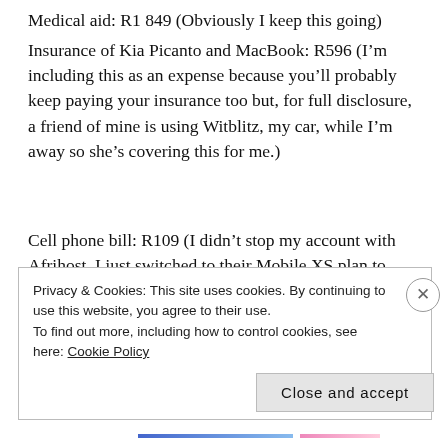Medical aid: R1 849 (Obviously I keep this going)
Insurance of Kia Picanto and MacBook: R596 (I'm including this as an expense because you'll probably keep paying your insurance too but, for full disclosure, a friend of mine is using Witblitz, my car, while I'm away so she's covering this for me.)
Cell phone bill: R109 (I didn't stop my account with Afrihost. I just switched to their Mobile XS plan to keep my SIM active while I'm away.)
Uncapped fibre: NONE. I cancelled my account when I gave up my flat. I now use the super-fast free Wi-Fi of my hotel, the restaurants I work in or open up my cell as a hotspot. See below.)
Privacy & Cookies: This site uses cookies. By continuing to use this website, you agree to their use. To find out more, including how to control cookies, see here: Cookie Policy